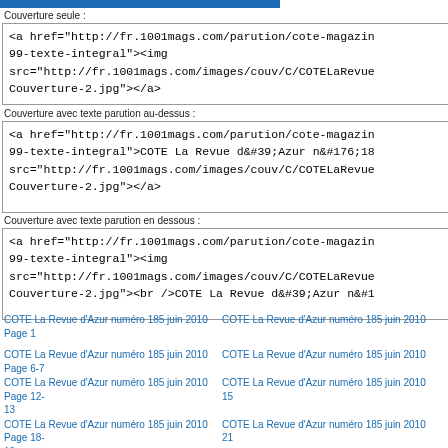Couverture seule :
<a href="http://fr.1001mags.com/parution/cote-magazin
99-texte-integral"><img
src="http://fr.1001mags.com/images/couv/C/COTELaRevue
Couverture-2.jpg"></a>
Couverture avec texte parution au-dessus :
<a href="http://fr.1001mags.com/parution/cote-magazin
99-texte-integral">COTE La Revue d&#39;Azur n&#176;18
src="http://fr.1001mags.com/images/couv/C/COTELaRevue
Couverture-2.jpg"></a>
Couverture avec texte parution en dessous :
<a href="http://fr.1001mags.com/parution/cote-magazin
99-texte-integral"><img
src="http://fr.1001mags.com/images/couv/C/COTELaRevue
Couverture-2.jpg"><br />COTE La Revue d&#39;Azur n&#1
COTE La Revue d'Azur numéro 185 juin 2010 Page 1
COTE La Revue d'Azur numéro 185 juin 2010
COTE La Revue d'Azur numéro 185 juin 2010 Page 6-7
COTE La Revue d'Azur numéro 185 juin 2010
COTE La Revue d'Azur numéro 185 juin 2010 Page 12-13
COTE La Revue d'Azur numéro 185 juin 2010 15
COTE La Revue d'Azur numéro 185 juin 2010 Page 18-19
COTE La Revue d'Azur numéro 185 juin 2010 21
COTE La Revue d'Azur numéro 185 juin 2010 Page 24-25
COTE La Revue d'Azur numéro 185 juin 2010 27